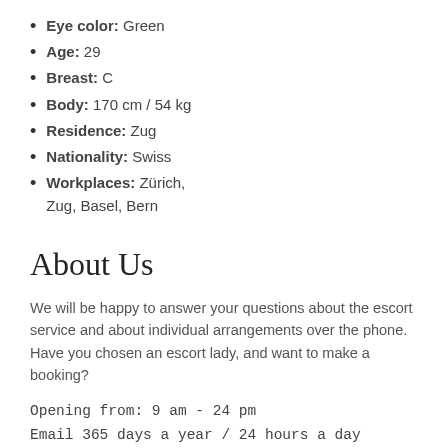Eye color: Green
Age: 29
Breast: C
Body: 170 cm / 54 kg
Residence: Zug
Nationality: Swiss
Workplaces: Zürich, Zug, Basel, Bern
About Us
We will be happy to answer your questions about the escort service and about individual arrangements over the phone. Have you chosen an escort lady, and want to make a booking?
Opening from: 9 am - 24 pm
Email 365 days a year / 24 hours a day
Phone: +41 78 955 86 66
Find Escort Girl